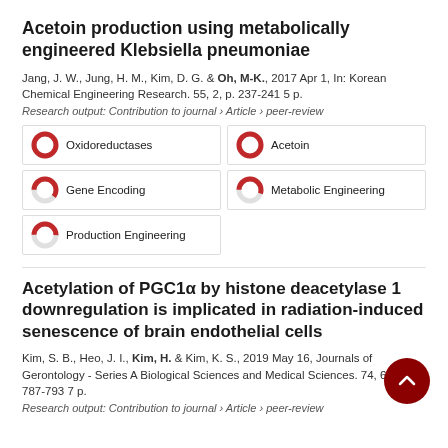Acetoin production using metabolically engineered Klebsiella pneumoniae
Jang, J. W., Jung, H. M., Kim, D. G. & Oh, M-K., 2017 Apr 1, In: Korean Chemical Engineering Research. 55, 2, p. 237-241 5 p.
Research output: Contribution to journal › Article › peer-review
[Figure (infographic): Five keyword badges with donut/pie chart icons showing percentage fills: Oxidoreductases (100%, red), Acetoin (100%, red), Gene Encoding (60%, red), Metabolic Engineering (55%, red), Production Engineering (50%, red)]
Acetylation of PGC1α by histone deacetylase 1 downregulation is implicated in radiation-induced senescence of brain endothelial cells
Kim, S. B., Heo, J. I., Kim, H. & Kim, K. S., 2019 May 16, Journals of Gerontology - Series A Biological Sciences and Medical Sciences. 74, 6, p. 787-793 7 p.
Research output: Contribution to journal › Article › peer-review